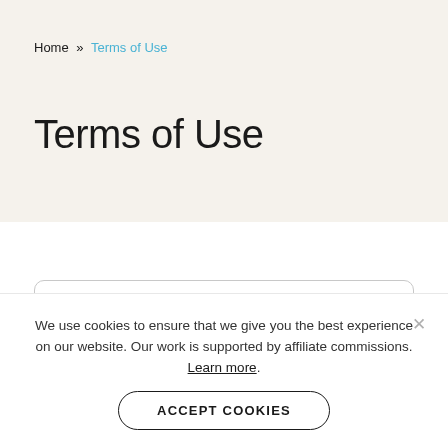Home » Terms of Use
Terms of Use
Liability of Content
We use cookies to ensure that we give you the best experience on our website. Our work is supported by affiliate commissions. Learn more.
ACCEPT COOKIES